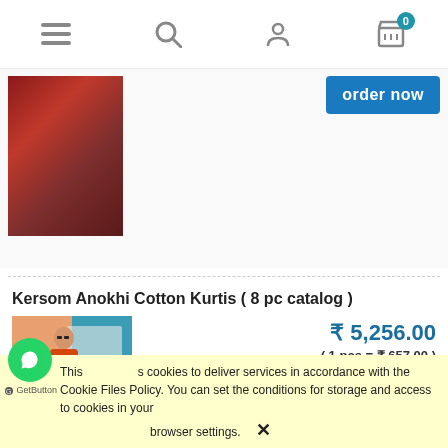Navigation bar with hamburger menu, search, user, and cart icons (cart count: 0)
[Figure (photo): Partial view of a previous product - red/maroon saree fabric with an 'order now' button]
Kersom Anokhi Cotton Kurtis ( 8 pc catalog )
[Figure (photo): Woman wearing an orange/red cotton kurti set, standing near a teal background]
₹ 5,256.00
( 1 pcs = ₹ 657.00 )
excl. 5% TAX, excl. shipping costs
notify of product availability
This uses cookies to deliver services in accordance with the Cookie Files Policy. You can set the conditions for storage and access to cookies in your browser settings.